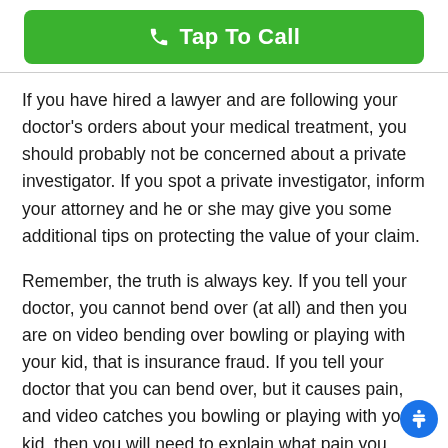Tap To Call
If you have hired a lawyer and are following your doctor's orders about your medical treatment, you should probably not be concerned about a private investigator. If you spot a private investigator, inform your attorney and he or she may give you some additional tips on protecting the value of your claim.
Remember, the truth is always key. If you tell your doctor, you cannot bend over (at all) and then you are on video bending over bowling or playing with your kid, that is insurance fraud. If you tell your doctor that you can bend over, but it causes pain, and video catches you bowling or playing with your kid, then you will need to explain what pain you were in or what you had to